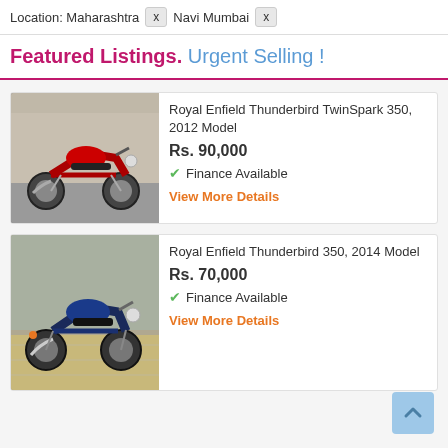Location: Maharashtra  x  Navi Mumbai  x
Featured Listings. Urgent Selling !
[Figure (photo): Red Royal Enfield Thunderbird motorcycle parked outdoors]
Royal Enfield Thunderbird TwinSpark 350, 2012 Model
Rs. 90,000
✔ Finance Available
View More Details
[Figure (photo): Blue-black Royal Enfield Thunderbird 350 motorcycle parked on patterned pavement]
Royal Enfield Thunderbird 350, 2014 Model
Rs. 70,000
✔ Finance Available
View More Details